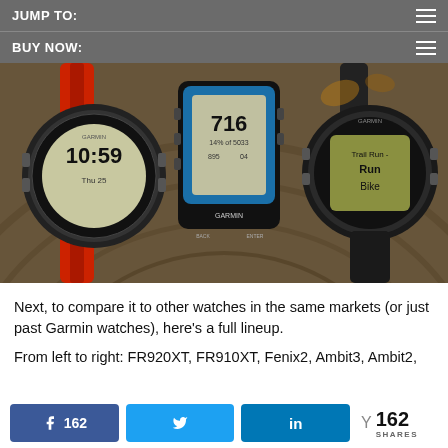JUMP TO:
BUY NOW:
[Figure (photo): Three Garmin sport watches laid on a wood stump surface. Left: Garmin Fenix2 with red band showing 10:59 Thu 25. Center: Garmin FR910XT with blue bezel showing 716 and 14% of 5033. Right: Garmin watch showing Trail Run - Run - Bike menu.]
Next, to compare it to other watches in the same markets (or just past Garmin watches), here's a full lineup.
From left to right: FR920XT, FR910XT, Fenix2, Ambit3, Ambit2,
162 SHARES